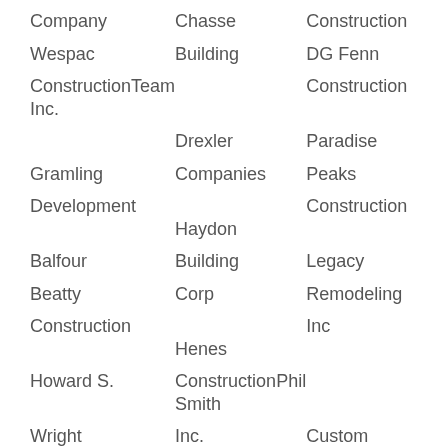| Company | Chasse | Construction |
| Wespac | Building | DG Fenn |
| ConstructionTeam Inc. |  | Construction |
|  | Drexler | Paradise |
| Gramling | Companies | Peaks |
| Development | Haydon | Construction |
| Balfour | Building | Legacy |
| Beatty | Corp | Remodeling |
| Construction | Henes | Inc |
| Howard S. | Construction | Phil Smith |
| Wright | Inc. | Custom |